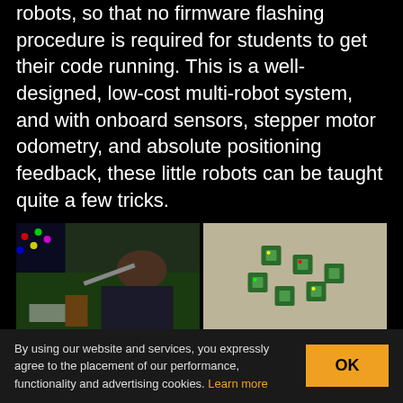robots, so that no firmware flashing procedure is required for students to get their code running. This is a well-designed, low-cost multi-robot system, and with onboard sensors, stepper motor odometry, and absolute positioning feedback, these little robots can be taught quite a few tricks.
[Figure (photo): Four photos in a 2x2 grid: top-left shows a person soldering/working on a small robot at a workbench; top-right shows several small green circuit board robots on a metallic surface; bottom-left and bottom-right show partial views of robots in lab settings.]
By using our website and services, you expressly agree to the placement of our performance, functionality and advertising cookies. Learn more